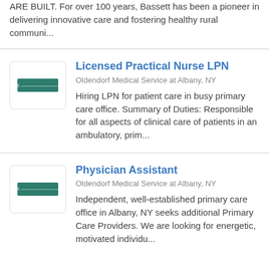ARE BUILT. For over 100 years, Bassett has been a pioneer in delivering innovative care and fostering healthy rural communi...
[Figure (logo): Oldendorf Medical Service logo — green rectangle with white text]
Licensed Practical Nurse LPN
Oldendorf Medical Service at Albany, NY
Hiring LPN for patient care in busy primary care office. Summary of Duties: Responsible for all aspects of clinical care of patients in an ambulatory, prim...
[Figure (logo): Oldendorf Medical Service logo — green rectangle with white text]
Physician Assistant
Oldendorf Medical Service at Albany, NY
Independent, well-established primary care office in Albany, NY seeks additional Primary Care Providers.  We are looking for energetic, motivated individu...